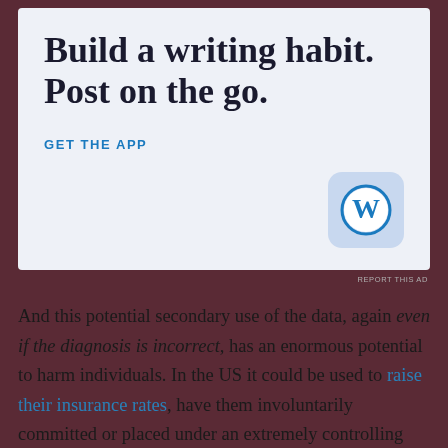[Figure (other): WordPress app advertisement banner with light blue-grey background. Large serif text reads 'Build a writing habit. Post on the go.' with a 'GET THE APP' CTA link and the WordPress logo (blue W in a rounded square icon) in the bottom-right corner.]
REPORT THIS AD
And this potential secondary use of the data, again even if the diagnosis is incorrect, has an enormous potential to harm individuals. In the US it could be used to raise their insurance rates, have them involuntarily committed or placed under an extremely controlling conservatorship (which may strip them of their right to